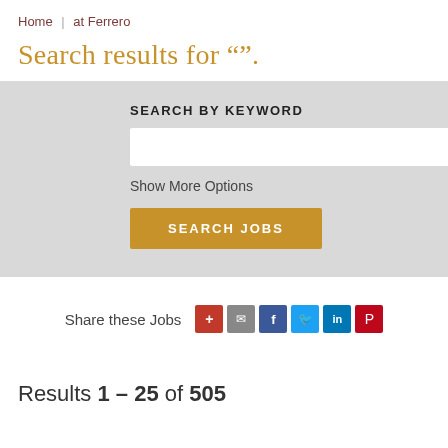Home | at Ferrero
Search results for “”.
SEARCH BY KEYWORD
Show More Options
SEARCH JOBS
Share these Jobs
Results 1 – 25 of 505